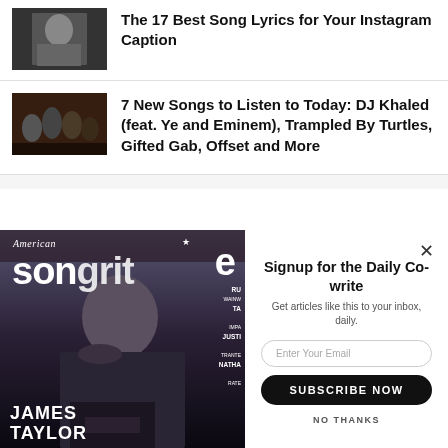[Figure (photo): Thumbnail image of a person (dark/grayscale) for Instagram caption article]
The 17 Best Song Lyrics for Your Instagram Caption
[Figure (photo): Thumbnail image of a music group (dark, moody) for DJ Khaled article]
7 New Songs to Listen to Today: DJ Khaled (feat. Ye and Eminem), Trampled By Turtles, Gifted Gab, Offset and More
[Figure (photo): American Songwriter magazine cover featuring James Taylor]
Signup for the Daily Co-write
Get articles like this to your inbox, daily.
Enter Your Email
SUBSCRIBE NOW
NO THANKS